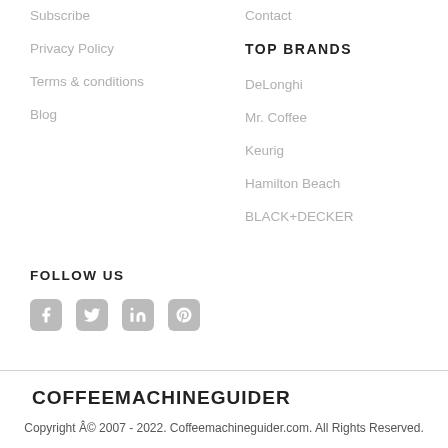Subscribe
Privacy Policy
Terms & conditions
Blog
Contact
TOP BRANDS
DeLonghi
Mr. Coffee
Keurig
Hamilton Beach
BLACK+DECKER
FOLLOW US
[Figure (infographic): Social media icons for Facebook, Twitter, LinkedIn, and Pinterest]
COFFEEMACHINEGUIDER
Copyright © 2007 - 2022. Coffeemachineguider.com. All Rights Reserved.